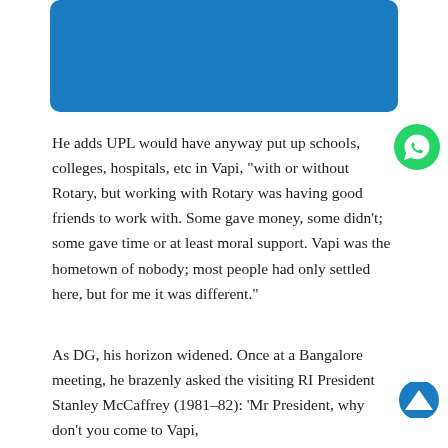[Figure (other): Blue rectangle image placeholder at top of page]
He adds UPL would have anyway put up schools, colleges, hospitals, etc in Vapi, “with or without Rotary, but working with Rotary was having good friends to work with. Some gave money, some didn’t; some gave time or at least moral support. Vapi was the hometown of nobody; most people had only settled here, but for me it was different.”
[Figure (other): WhatsApp icon (green circle with phone handset)]
As DG, his horizon widened. Once at a Bangalore meeting, he brazenly asked the visiting RI President Stanley McCaffrey (1981–82): ‘Mr President, why don’t you come to Vapi,
[Figure (other): Blue upward chevron/arrow icon]